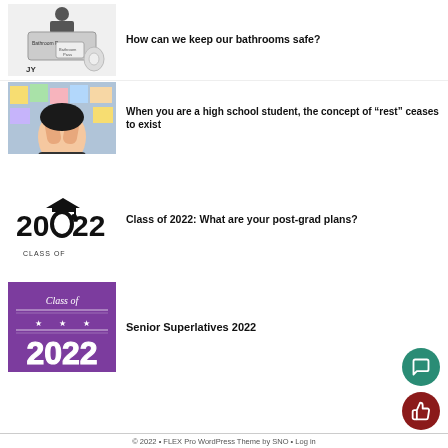[Figure (illustration): Bathroom pass illustration with a person figure, gray pass card labeled 'Bathroom Pass', a cartoon roll of toilet paper, and 'JY' text]
How can we keep our bathrooms safe?
[Figure (photo): Photo of a stressed high school student covering her face with hands, surrounded by colorful sticky notes on a glass wall]
When you are a high school student, the concept of “rest” ceases to exist
[Figure (logo): Black text graphic: '2022' with a graduation cap, and 'CLASS OF' underneath]
Class of 2022: What are your post-grad plans?
[Figure (illustration): Purple banner graphic with white text 'Class of' in script, three stars, and '2022' in large block letters]
Senior Superlatives 2022
© 2022 • FLEX Pro WordPress Theme by SNO • Log in